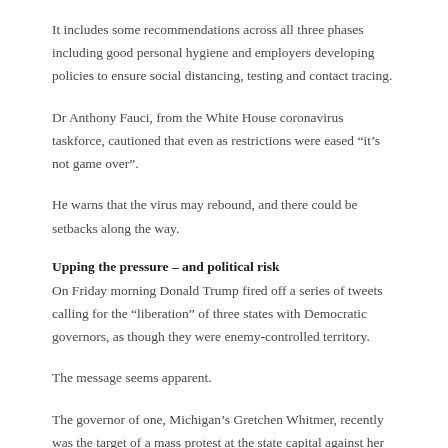It includes some recommendations across all three phases including good personal hygiene and employers developing policies to ensure social distancing, testing and contact tracing.
Dr Anthony Fauci, from the White House coronavirus taskforce, cautioned that even as restrictions were eased “it’s not game over”.
He warns that the virus may rebound, and there could be setbacks along the way.
Upping the pressure – and political risk
On Friday morning Donald Trump fired off a series of tweets calling for the “liberation” of three states with Democratic governors, as though they were enemy-controlled territory.
The message seems apparent.
The governor of one, Michigan’s Gretchen Whitmer, recently was the target of a mass protest at the state capital against her sweeping lock-down orders. A mixed crowd of conservatives, white nationalists and